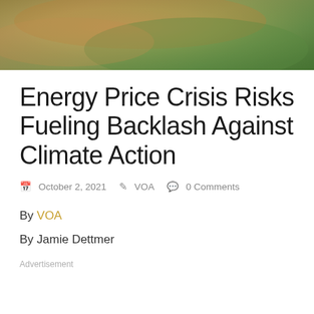[Figure (photo): Close-up photo of hands holding a green leaf, with warm and green tones visible]
Energy Price Crisis Risks Fueling Backlash Against Climate Action
October 2, 2021  VOA  0 Comments
By VOA
By Jamie Dettmer
Advertisement